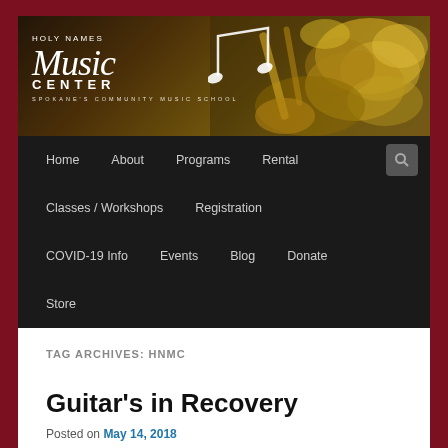[Figure (logo): Holy Names Music Center logo with saxophone background image. White script text reading 'Holy Names Music Center' with 'SPOKANE'S COMMUNITY MUSIC SCHOOL' tagline below.]
Home | About | Programs | Rental | Classes / Workshops | Registration | COVID-19 Info | Events | Blog | Donate | Store
TAG ARCHIVES: HNMC
Guitar's in Recovery
Posted on May 14, 2018